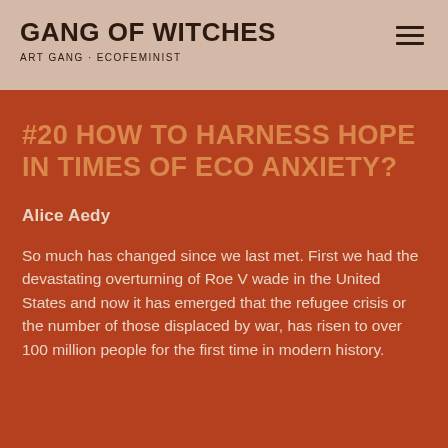GANG OF WITCHES
ART GANG · ECOFEMINIST
#20 HOW TO HARNESS HOPE IN TIMES OF ECO ANXIETY?
Alice Aedy
So much has changed since we last met. First we had the devastating overturning of Roe V wade in the United States and now it has emerged that the refugee crisis or the number of those displaced by war, has risen to over 100 million people for the first time in modern history.